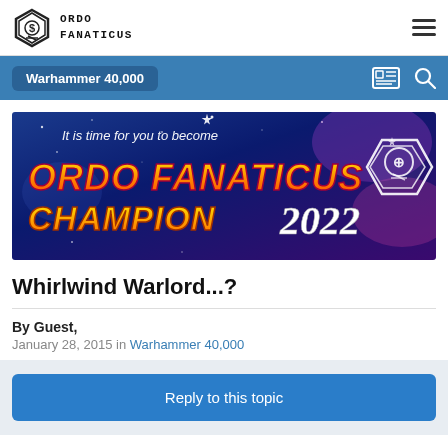ORDO FANATICUS
Warhammer 40,000
[Figure (illustration): Ordo Fanaticus Champion 2022 promotional banner with space/galaxy background, orange and yellow stylized text reading 'ORDO FANATICUS CHAMPION 2022' with white cursive accent, and Ordo Fanaticus skull logo on the right. Top text reads 'It is time for you to become']
Whirlwind Warlord...?
By Guest,
January 28, 2015 in Warhammer 40,000
Reply to this topic